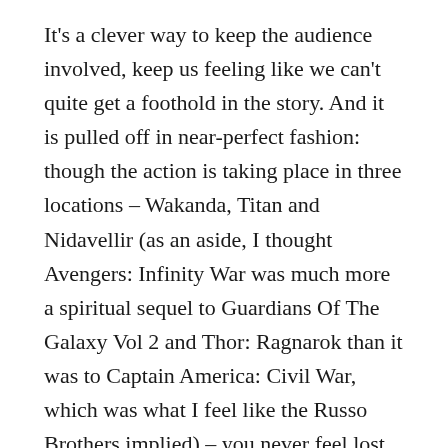It's a clever way to keep the audience involved, keep us feeling like we can't quite get a foothold in the story. And it is pulled off in near-perfect fashion: though the action is taking place in three locations – Wakanda, Titan and Nidavellir (as an aside, I thought Avengers: Infinity War was much more a spiritual sequel to Guardians Of The Galaxy Vol 2 and Thor: Ragnarok than it was to Captain America: Civil War, which was what I feel like the Russo Brothers implied) – you never feel lost and you always feel like you know what is happening.
Amazingly, considering it contains about a million characters, Avengers: Infinity War might be the most coherent film in Marvel Cinematic Universe to date, or